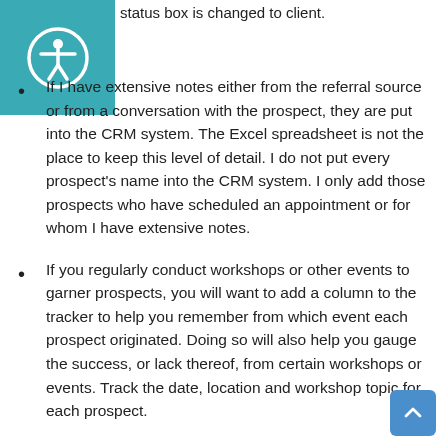[Figure (logo): Teal square with white accessibility icon (person with outstretched arms in a circle)]
status box is changed to client.
If I have extensive notes either from the referral source or from a conversation with the prospect, they are put into the CRM system. The Excel spreadsheet is not the place to keep this level of detail. I do not put every prospect's name into the CRM system. I only add those prospects who have scheduled an appointment or for whom I have extensive notes.
If you regularly conduct workshops or other events to garner prospects, you will want to add a column to the tracker to help you remember from which event each prospect originated. Doing so will also help you gauge the success, or lack thereof, from certain workshops or events. Track the date, location and workshop topic for each prospect.